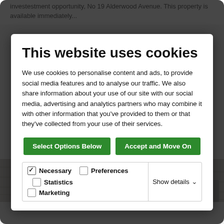investestment opportunity, No 19 Alderwood Avenue. This property is available immediately...
This website uses cookies
We use cookies to personalise content and ads, to provide social media features and to analyse our traffic. We also share information about your use of our site with our social media, advertising and analytics partners who may combine it with other information that you've provided to them or that they've collected from your use of their services.
Select Options Below | Accept and Move On
Necessary  Preferences  Statistics  Marketing  Show details
€415,000 BER C1